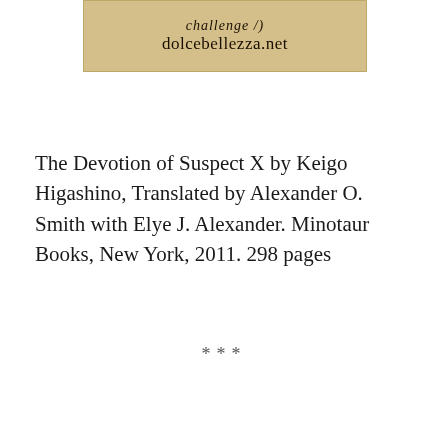[Figure (other): Tan/beige banner image partially visible at top, showing cursive/handwritten style text 'challenge /)' and below it 'dolcebellezza.net']
The Devotion of Suspect X by Keigo Higashino, Translated by Alexander O. Smith with Elye J. Alexander. Minotaur Books, New York, 2011. 298 pages
***